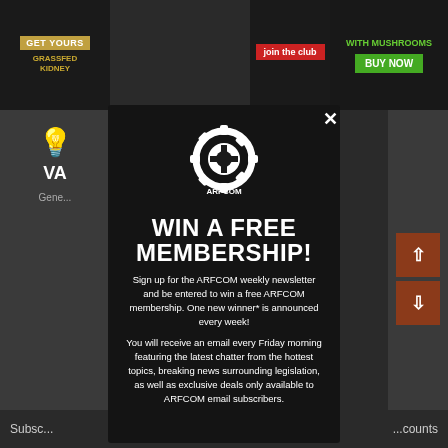[Figure (screenshot): Website background with ad banners at top and dark sidebar areas]
[Figure (logo): ARFCOM gear/cog logo in white]
WIN A FREE MEMBERSHIP!
Sign up for the ARFCOM weekly newsletter and be entered to win a free ARFCOM membership. One new winner* is announced every week!
You will receive an email every Friday morning featuring the latest chatter from the hottest topics, breaking news surrounding legislation, as well as exclusive deals only available to ARFCOM email subscribers.